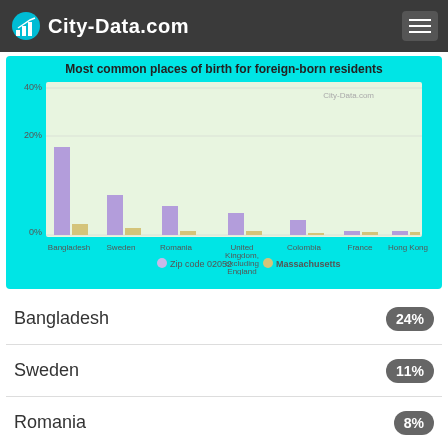City-Data.com
[Figure (grouped-bar-chart): Most common places of birth for foreign-born residents]
Bangladesh 24%
Sweden 11%
Romania 8%
United Kingdom, excluding England and Scotland